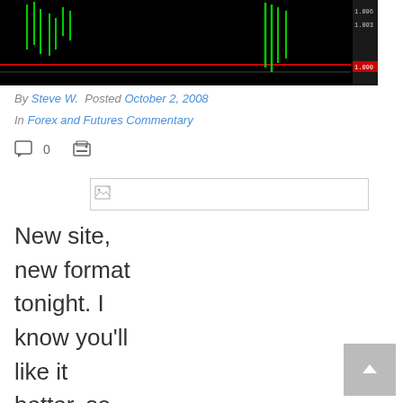[Figure (screenshot): Financial trading chart with green candlesticks on black background, red horizontal line, partial view]
By Steve W. Posted October 2, 2008
In Forex and Futures Commentary
[Figure (other): Comment icon with count 0 and print icon]
[Figure (other): Broken image placeholder box]
New site, new format tonight. I know you'll like it better, so here we go: